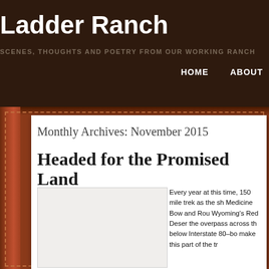Ladder Ranch
SCENES, THOUGHTS AND POETRY FROM OUR WORKING RANCH
HOME   ABOUT
Monthly Archives: November 2015
Headed for the Promised Land
[Figure (photo): Photograph placeholder/image area]
Every year at this time, 150 mile trek as the sh Medicine Bow and Rou Wyoming's Red Deser the overpass across th below Interstate 80–bo make this part of the tr